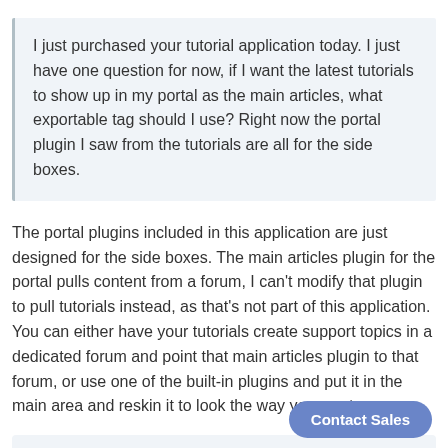I just purchased your tutorial application today. I just have one question for now, if I want the latest tutorials to show up in my portal as the main articles, what exportable tag should I use? Right now the portal plugin I saw from the tutorials are all for the side boxes.
The portal plugins included in this application are just designed for the side boxes. The main articles plugin for the portal pulls content from a forum, I can't modify that plugin to pull tutorials instead, as that's not part of this application. You can either have your tutorials create support topics in a dedicated forum and point that main articles plugin to that forum, or use one of the built-in plugins and put it in the main area and reskin it to look the way you want.
On 6/8/2011 at 3:46 PM, angkat114 said: